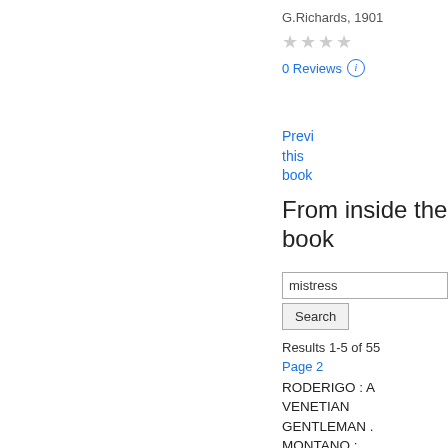G.Richards, 1901
★★★★
0 Reviews ⓘ
Preview this book
From inside the book
mistress
Search
Results 1-5 of 55
Page 2
RODERIGO : A VENETIAN GENTLEMAN . MONTANO : OTHELLO'S PREDECESSOR IN THE